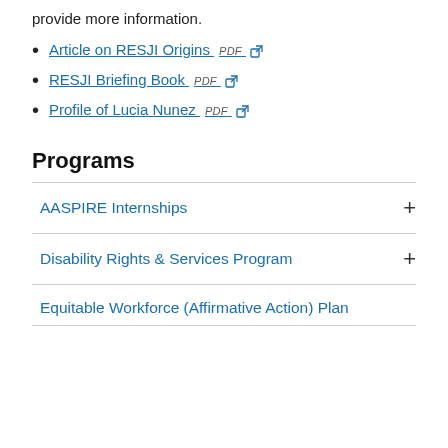provide more information.
Article on RESJI Origins PDF
RESJI Briefing Book PDF
Profile of Lucia Nunez PDF
Programs
AASPIRE Internships
Disability Rights & Services Program
Equitable Workforce (Affirmative Action) Plan